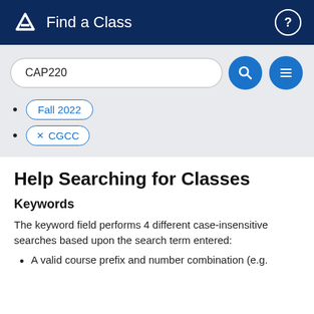Find a Class
[Figure (screenshot): Search bar with text CAP220, a blue search button, and a blue menu button]
Fall 2022
× CGCC
Help Searching for Classes
Keywords
The keyword field performs 4 different case-insensitive searches based upon the search term entered:
A valid course prefix and number combination (e.g.